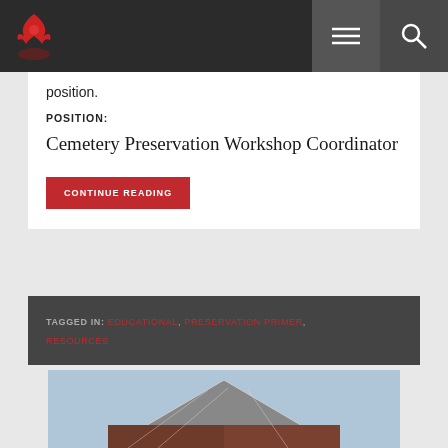position.
POSITION:
Cemetery Preservation Workshop Coordinator
CONTINUE READING
TAGGED IN: EDUCATIONAL, PRESERVATION PRIMER, RESOURCES
[Figure (photo): Exterior of a barn or building with metal roof against a blue sky, partially visible at bottom of page]